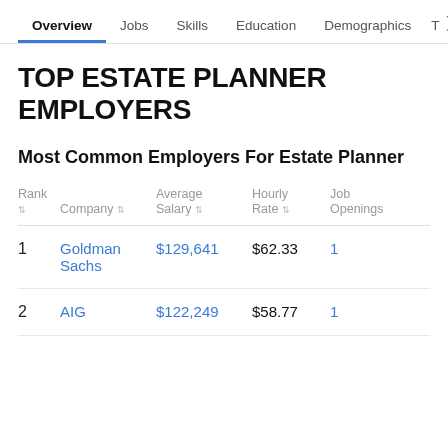Overview  Jobs  Skills  Education  Demographics  T
TOP ESTATE PLANNER EMPLOYERS
Most Common Employers For Estate Planner
| Rank | Company | Average Salary | Hourly Rate | Job Openings |
| --- | --- | --- | --- | --- |
| 1 | Goldman Sachs | $129,641 | $62.33 | 1 |
| 2 | AIG | $122,249 | $58.77 | 1 |